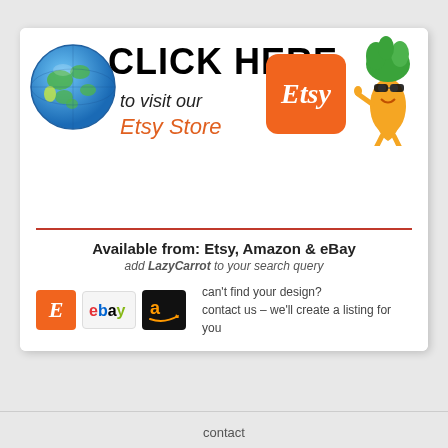[Figure (infographic): Promotional card for LazyCarrot Etsy store. Contains globe illustration, 'CLICK HERE to visit our Etsy Store' text with Etsy logo badge and carrot character. Bottom section shows marketplace logos (Etsy, eBay, Amazon) with text 'Available from: Etsy, Amazon & eBay' and 'can't find your design? contact us - we'll create a listing for you'.]
contact